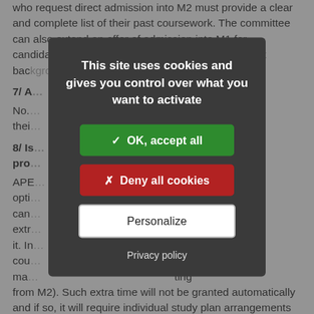who request direct admission into M2 must provide a clear and complete list of their past coursework. The committee can also extend an offer of admission into M1 for candidates with interesting profiles but an insufficient background.
7/ A...
No. ...
8/ Is...
pro...
APE... candidates extra ... it. In ... cou... ma... from M2). Such extra time will not be granted automatically and if so, it will require individual study plan arrangements and approval from the program director. Candidates who wish to continue working in addition to the master should...
[Figure (screenshot): Cookie consent modal dialog with dark background overlay. Title reads: 'This site uses cookies and gives you control over what you want to activate'. Three buttons: green 'OK, accept all', red 'Deny all cookies', white 'Personalize'. Below buttons: 'Privacy policy' link.]